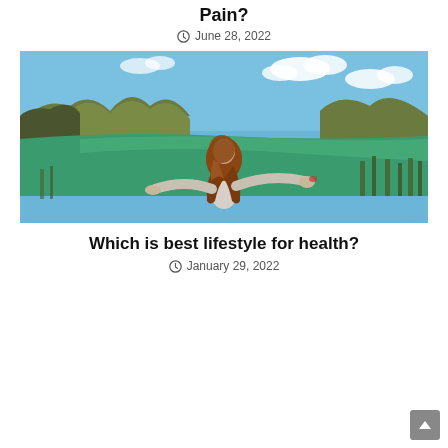Pain?
June 28, 2022
[Figure (photo): Woman with outstretched arms facing a green lake with rocky hills and blue sky behind her, viewed from behind, with long auburn hair]
Which is best lifestyle for health?
January 29, 2022